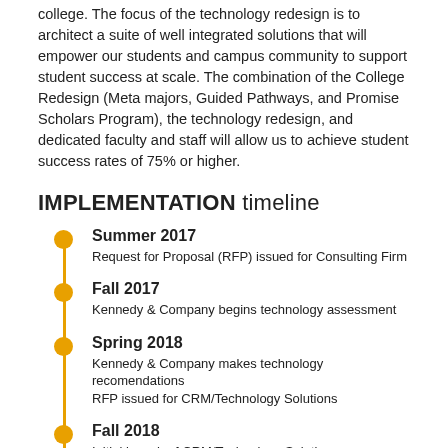college. The focus of the technology redesign is to architect a suite of well integrated solutions that will empower our students and campus community to support student success at scale. The combination of the College Redesign (Meta majors, Guided Pathways, and Promise Scholars Program), the technology redesign, and dedicated faculty and staff will allow us to achieve student success rates of 75% or higher.
IMPLEMENTATION timeline
Summer 2017 — Request for Proposal (RFP) issued for Consulting Firm
Fall 2017 — Kennedy & Company begins technology assessment
Spring 2018 — Kennedy & Company makes technology recomendations; RFP issued for CRM/Technology Solutions
Fall 2018 — Initial launch of CRM/Technology Solutions implementation
Fall 2020 — CRM/Technology Solutions fully implemented.